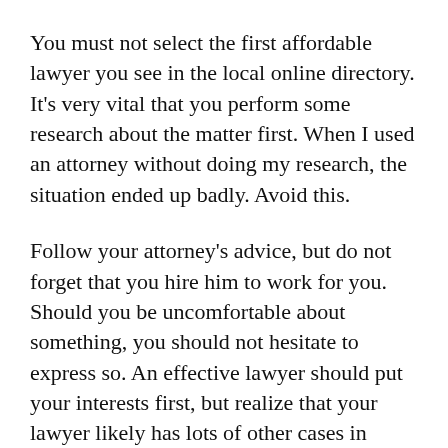You must not select the first affordable lawyer you see in the local online directory. It’s very vital that you perform some research about the matter first. When I used an attorney without doing my research, the situation ended up badly. Avoid this.
Follow your attorney’s advice, but do not forget that you hire him to work for you. Should you be uncomfortable about something, you should not hesitate to express so. An effective lawyer should put your interests first, but realize that your lawyer likely has lots of other cases in addition to yours.